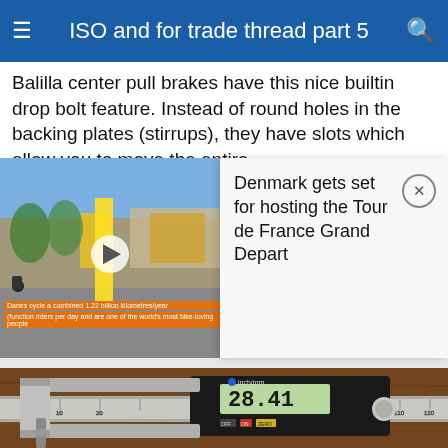ISO and for trade thread part 5
Balilla center pull brakes have this nice builtin drop bolt feature. Instead of round holes in the backing plates (stirrups), they have slots which allow you to move the entire
[Figure (screenshot): Video thumbnail showing street scene with yellow banner/flag, bus in background, play button overlay, and orange text overlays about Denmark cycling statistics]
[Figure (other): Popup card reading: Denmark gets set for hosting the Tour de France Grand Depart, with close button]
[Figure (photo): Close-up photo of a digital caliper measuring a bolt/screw on a wooden surface. The caliper display shows 28.41 mm. Controls labeled inch/mm, OFF, ON, ZERO visible.]